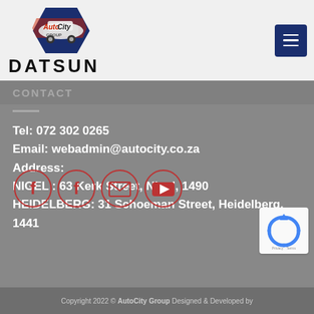[Figure (logo): Auto City Group Datsun logo with diamond shape and car silhouette, plus DATSUN wordmark below]
CONTACT
Tel: 072 302 0265
Email: webadmin@autocity.co.za
Address:
NIGEL : 63 Kerk Street, Nigel, 1490
HEIDELBERG: 31 Schoeman Street, Heidelberg, 1441
[Figure (illustration): Four social media icons in red circles: Facebook, Facebook, Email/envelope, YouTube]
[Figure (logo): reCAPTCHA badge with recycle arrows logo]
Copyright 2022 © AutoCity Group Designed & Developed by